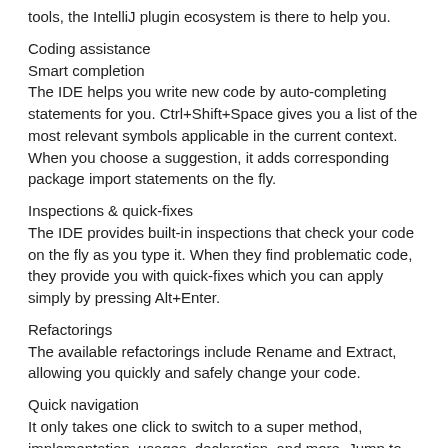tools, the IntelliJ plugin ecosystem is there to help you.
Coding assistance
Smart completion
The IDE helps you write new code by auto-completing statements for you. Ctrl+Shift+Space gives you a list of the most relevant symbols applicable in the current context. When you choose a suggestion, it adds corresponding package import statements on the fly.
Inspections & quick-fixes
The IDE provides built-in inspections that check your code on the fly as you type it. When they find problematic code, they provide you with quick-fixes which you can apply simply by pressing Alt+Enter.
Refactorings
The available refactorings include Rename and Extract, allowing you quickly and safely change your code.
Quick navigation
It only takes one click to switch to a super method, implementation, usages, declaration, and more. Jump to any class, file or symbol, or even any IDE action or tool window in one click.
Quick popups
When you need more information about a symbol at the caret, use quick